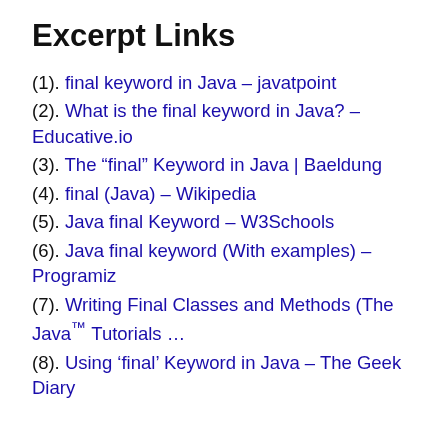Excerpt Links
(1). final keyword in Java – javatpoint
(2). What is the final keyword in Java? – Educative.io
(3). The “final” Keyword in Java | Baeldung
(4). final (Java) – Wikipedia
(5). Java final Keyword – W3Schools
(6). Java final keyword (With examples) – Programiz
(7). Writing Final Classes and Methods (The Java™ Tutorials …
(8). Using ‘final’ Keyword in Java – The Geek Diary